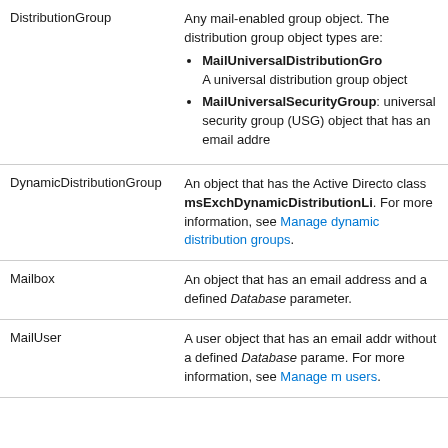| Type | Description |
| --- | --- |
| DistributionGroup | Any mail-enabled group object. The distribution group object types are:
• MailUniversalDistributionGro... A universal distribution group object
• MailUniversalSecurityGroup: universal security group (USG) object that has an email addre... |
| DynamicDistributionGroup | An object that has the Active Directo... class msExchDynamicDistributionLi... For more information, see Manage dynamic distribution groups. |
| Mailbox | An object that has an email address and a defined Database parameter. |
| MailUser | A user object that has an email addr... without a defined Database parame... For more information, see Manage m... users. |